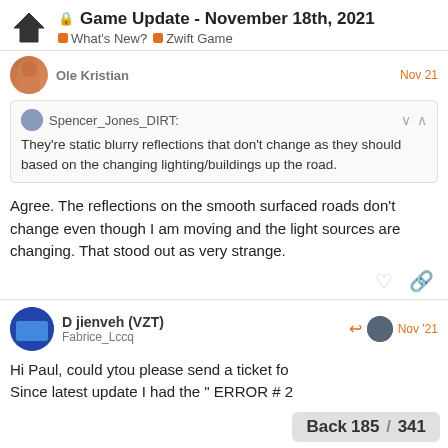Game Update - November 18th, 2021 | What's New? | Zwift Game
Ole Kristian — Nov 21
Spencer_Jones_DIRT: They're static blurry reflections that don't change as they should based on the changing lighting/buildings up the road.
Agree. The reflections on the smooth surfaced roads don't change even though I am moving and the light sources are changing. That stood out as very strange.
D jienveh (VZT) — Fabrice_Lccq — Nov '21
Hi Paul, could ytou please send a ticket fo… Since latest update I had the " ERROR # 2…
185 / 341